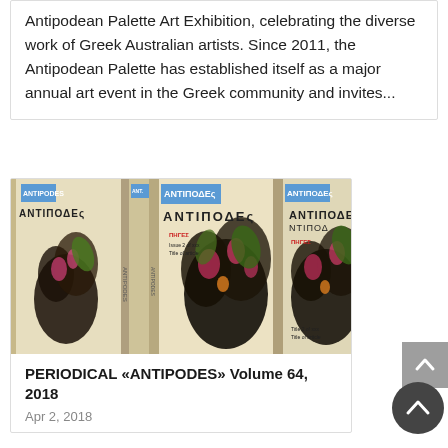Antipodean Palette Art Exhibition, celebrating the diverse work of Greek Australian artists.  Since 2011, the Antipodean Palette has established itself as a major annual art event in the Greek community and  invites...
[Figure (photo): Multiple copies of the 'ANTIPODES' periodical magazine displayed standing up, showing covers with dark floral/botanical artwork and Greek lettering]
PERIODICAL «ANTIPODES» Volume 64, 2018
Apr 2, 2018